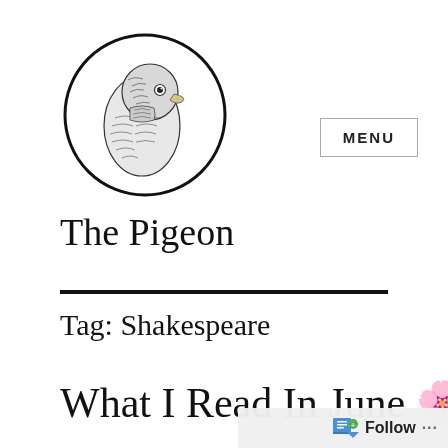[Figure (illustration): A circular logo illustration of a pigeon head in detailed pen-and-ink style, enclosed in a thin circle border.]
The Pigeon
Tag: Shakespeare
What I Read In June 🌸
Follow ...